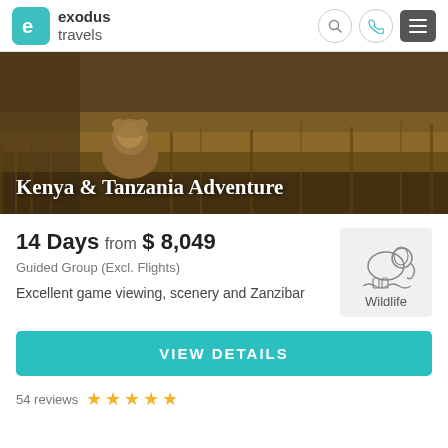[Figure (logo): Exodus Travels logo with teal rounded square icon and company name]
[Figure (photo): Hero photograph of a lion in golden savannah grass, dark brownish-gold tones]
Kenya & Tanzania Adventure
14 Days from $ 8,049
Guided Group (Excl. Flights)
Excellent game viewing, scenery and Zanzibar
[Figure (illustration): Wildlife icon showing an elephant outline with water waves beneath it, on gray background, labeled Wildlife]
VIEW DETAILS
54 reviews ★ ★ ★ ★ ★